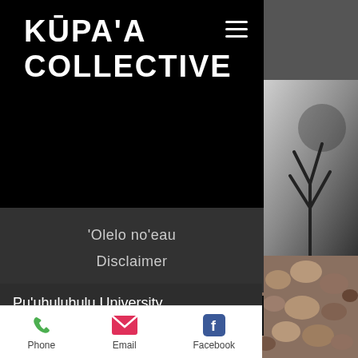KŪPA'A COLLECTIVE
'Olelo no'eau
Disclaimer
Pu'uhuluhulu University
Place-based
Phone
Email
Facebook